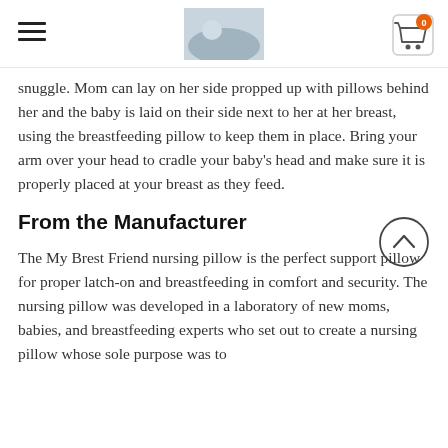[Navigation header with hamburger menu, logo image, and cart icon]
snuggle. Mom can lay on her side propped up with pillows behind her and the baby is laid on their side next to her at her breast, using the breastfeeding pillow to keep them in place. Bring your arm over your head to cradle your baby's head and make sure it is properly placed at your breast as they feed.
From the Manufacturer
The My Brest Friend nursing pillow is the perfect support pillow for proper latch-on and breastfeeding in comfort and security. The nursing pillow was developed in a laboratory of new moms, babies, and breastfeeding experts who set out to create a nursing pillow whose sole purpose was to